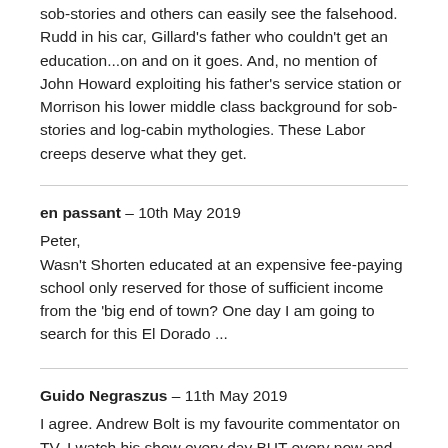sob-stories and others can easily see the falsehood. Rudd in his car, Gillard's father who couldn't get an education...on and on it goes. And, no mention of John Howard exploiting his father's service station or Morrison his lower middle class background for sob-stories and log-cabin mythologies. These Labor creeps deserve what they get.
en passant – 10th May 2019
Peter,
Wasn't Shorten educated at an expensive fee-paying school only reserved for those of sufficient income from the 'big end of town? One day I am going to search for this El Dorado ...
Guido Negraszus – 11th May 2019
I agree. Andrew Bolt is my favourite commentator on TV. I watch his show every day BUT every now and then I think he is so easily fooled by people like Shorten. Shorten's response